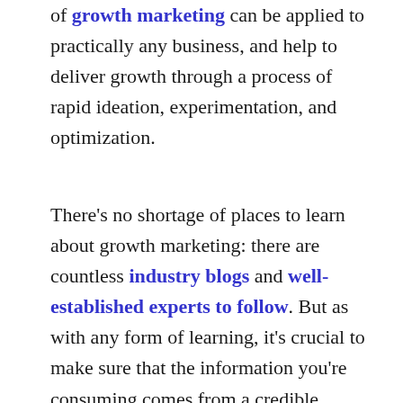of growth marketing can be applied to practically any business, and help to deliver growth through a process of rapid ideation, experimentation, and optimization.
There's no shortage of places to learn about growth marketing: there are countless industry blogs and well-established experts to follow. But as with any form of learning, it's crucial to make sure that the information you're consuming comes from a credible source.